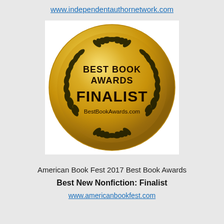www.independentauthornetwork.com
[Figure (illustration): Gold medal badge for Best Book Awards Finalist, featuring laurel wreath, text 'BEST BOOK AWARDS FINALIST BestBookAwards.com' on a gold circular background]
American Book Fest 2017 Best Book Awards
Best New Nonfiction: Finalist
www.americanbookfest.com